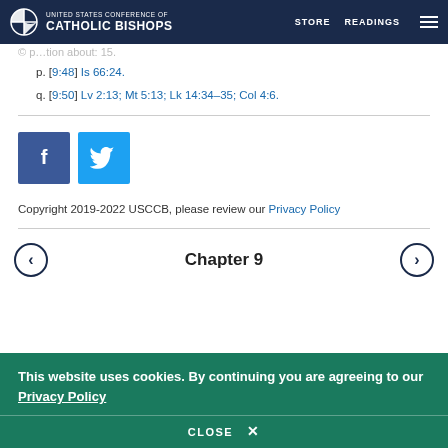United States Conference of Catholic Bishops — STORE  READINGS
p. [9:48] Is 66:24.
q. [9:50] Lv 2:13; Mt 5:13; Lk 14:34–35; Col 4:6.
[Figure (other): Facebook and Twitter social share buttons]
Copyright 2019-2022 USCCB, please review our Privacy Policy
Chapter 9  (navigation with previous and next arrows)
This website uses cookies. By continuing you are agreeing to our Privacy Policy
CLOSE  X